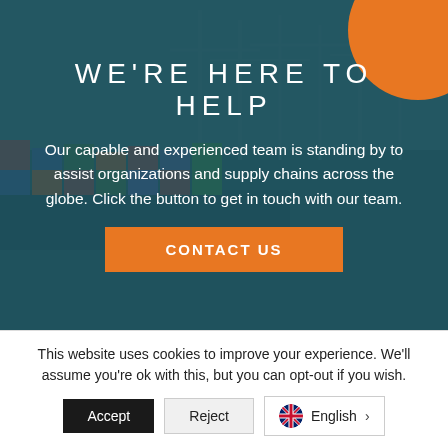[Figure (photo): Aerial view of a shipping port with container cranes and stacked cargo containers on a ship, with teal/blue-green overlay and orange circle accent top-right.]
WE'RE HERE TO HELP
Our capable and experienced team is standing by to assist organizations and supply chains across the globe. Click the button to get in touch with our team.
CONTACT US
This website uses cookies to improve your experience. We'll assume you're ok with this, but you can opt-out if you wish.
Accept
Reject
English